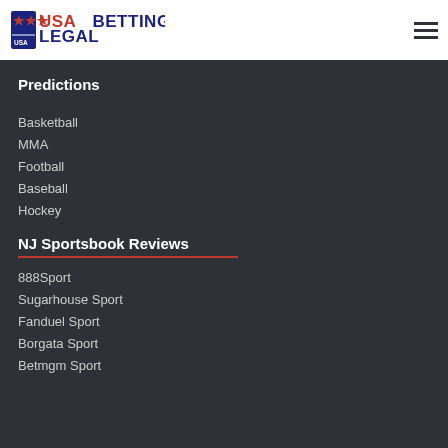USA Legal Betting
Predictions
Basketball
MMA
Football
Baseball
Hockey
NJ Sportsbook Reviews
888Sport
Sugarhouse Sport
Fanduel Sport
Borgata Sport
Betmgm Sport